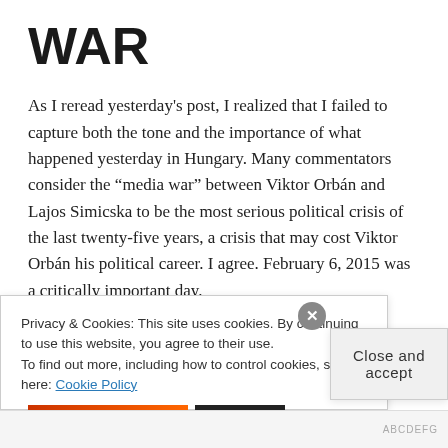WAR
As I reread yesterday’s post, I realized that I failed to capture both the tone and the importance of what happened yesterday in Hungary. Many commentators consider the “media war” between Viktor Orbán and Lajos Simicska to be the most serious political crisis of the last twenty-five years, a crisis that may cost Viktor Orbán his political career. I agree. February 6, 2015 was a critically important day.
Simicska’s outburst offered us an opportunity to peek behind the curtain of Viktor Orbán’s regime. What we see there is devastating. Hungary is being governed by a crime syndicate, something outsiders had told us, but until yesterday we had no inside confirmation. Now
Privacy & Cookies: This site uses cookies. By continuing to use this website, you agree to their use.
To find out more, including how to control cookies, see here: Cookie Policy
Close and accept